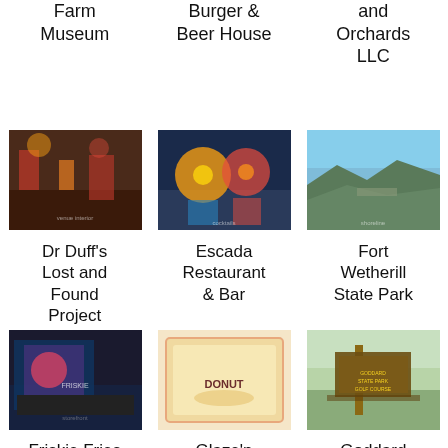Farm Museum
Burger & Beer House
and Orchards LLC
[Figure (photo): Interior of Dr Duff's Lost and Found Project venue with colorful lights]
[Figure (photo): Cocktail drinks with citrus slice at Escada Restaurant & Bar]
[Figure (photo): Rocky shoreline at Fort Wetherill State Park]
Dr Duff's Lost and Found Project
Escada Restaurant & Bar
Fort Wetherill State Park
[Figure (photo): Friskie Fries storefront with colorful display]
[Figure (photo): Donut box with DONUT text from Glaze'n Daze Donuts]
[Figure (photo): Wooden park sign at Goddard Memorial State Park Golf Course]
Friskie Fries
Glaze'n Daze Donuts
Goddard Memorial State Park Golf Course